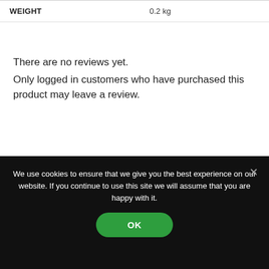| WEIGHT |  |
| --- | --- |
| WEIGHT | 0.2 kg |
There are no reviews yet.
Only logged in customers who have purchased this product may leave a review.
We use cookies to ensure that we give you the best experience on our website. If you continue to use this site we will assume that you are happy with it.